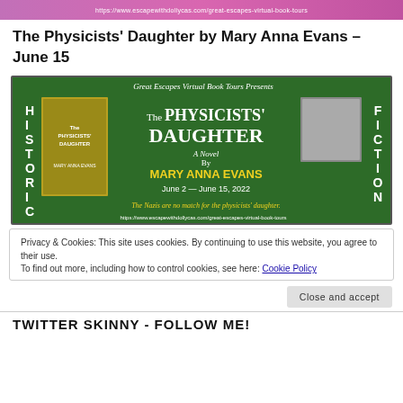https://www.escapewithcollycas.com/great-escapes-virtual-book-tours
The Physicists' Daughter by Mary Anna Evans – June 15
[Figure (illustration): Great Escapes Virtual Book Tours banner for The Physicists' Daughter by Mary Anna Evans, June 2 – June 15, 2022. Green background with 'HISTORICAL FICTION' on sides, book cover on left, author photo on right, tagline: The Nazis are no match for the physicists' daughter.]
Privacy & Cookies: This site uses cookies. By continuing to use this website, you agree to their use.
To find out more, including how to control cookies, see here: Cookie Policy
Close and accept
TWITTER SKINNY - FOLLOW ME!